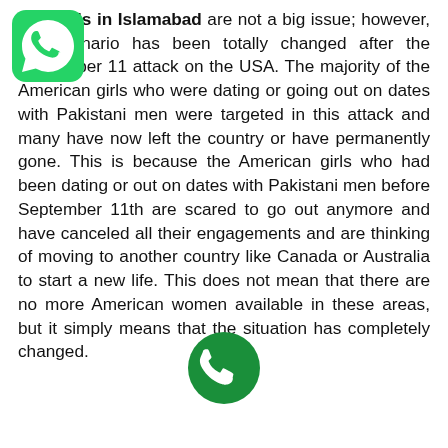Call girls in Islamabad are not a big issue; however, the scenario has been totally changed after the September 11 attack on the USA. The majority of the American girls who were dating or going out on dates with Pakistani men were targeted in this attack and many have now left the country or have permanently gone. This is because the American girls who had been dating or out on dates with Pakistani men before September 11th are scared to go out anymore and have canceled all their engagements and are thinking of moving to another country like Canada or Australia to start a new life. This does not mean that there are no more American women available in these areas, but it simply means that the situation has completely changed.
[Figure (logo): WhatsApp green icon with phone handset]
[Figure (logo): Green circle phone call icon]